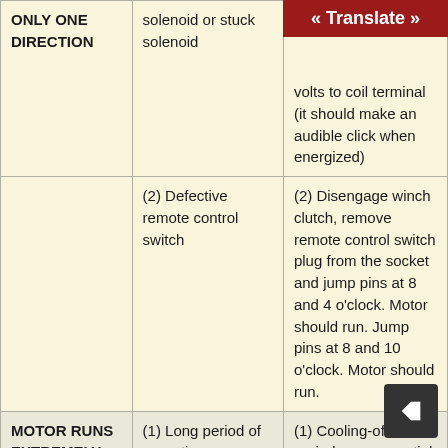| Problem | Cause | Remedy |
| --- | --- | --- |
| ONLY ONE DIRECTION | solenoid or stuck solenoid | volts to coil terminal (it should make an audible click when energized) |
|  | (2) Defective remote control switch | (2) Disengage winch clutch, remove remote control switch plug from the socket and jump pins at 8 and 4 o'clock. Motor should run. Jump pins at 8 and 10 o'clock. Motor should run. |
| MOTOR RUNS EXTREMELY HOT | (1) Long period of operation | (1) Cooling-off periods are essential to prevent overheating. |
[Figure (other): « Translate » banner button in dark red/maroon color]